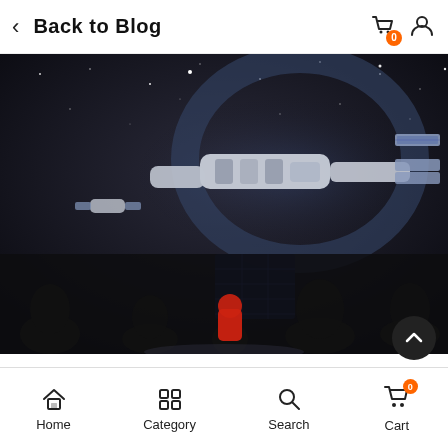< Back to Blog
[Figure (photo): Dark room with silhouettes of people viewing a large projected display of a Chinese space station model against a starry background. A child in red stands out in front of a solar panel display.]
China has successfully launched its third Unmanned
Home  Category  Search  Cart